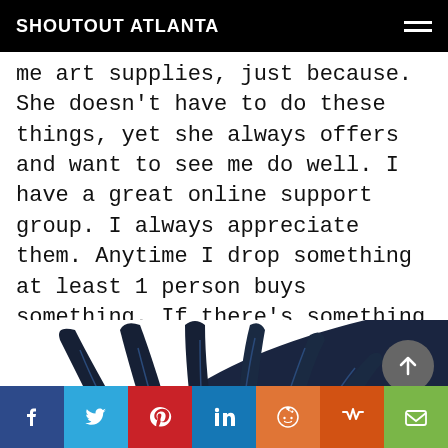SHOUTOUT ATLANTA
me art supplies, just because. She doesn't have to do these things, yet she always offers and want to see me do well. I have a great online support group. I always appreciate them. Anytime I drop something at least 1 person buys something. If there's something I made, I know that someone I know will share. It makes me very grateful.
[Figure (illustration): Dark navy blue illustration of a creature or hand-like form with elongated finger/tentacle shapes against a white background]
[Figure (other): Social share bar with icons for Facebook, Twitter, Pinterest, LinkedIn, Reddit, Mix, and Email]